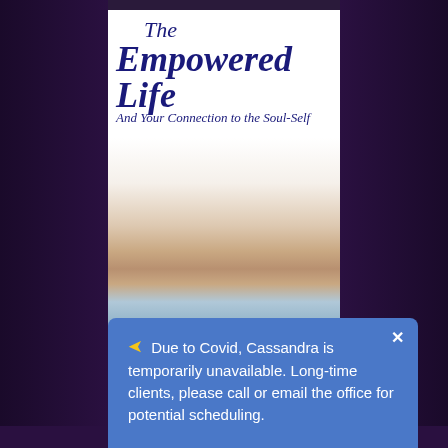[Figure (illustration): Book cover for 'The Empowered Life: And Your Connection to the Soul-Self' showing a hand reaching down to touch water creating a ripple, with a blue/white color scheme. Title text in dark navy italic script.]
Due to Covid, Cassandra is temporarily unavailable. Long-time clients, please call or email the office for potential scheduling.